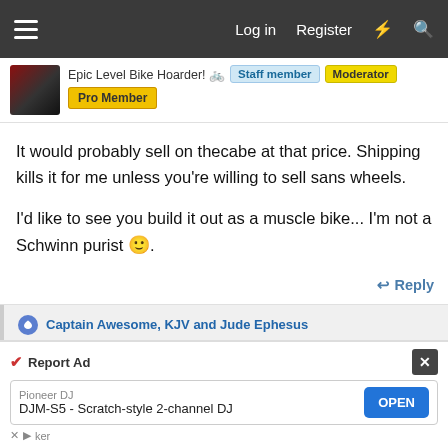Log in  Register
Epic Level Bike Hoarder! 🚲  Staff member  Moderator  Pro Member
It would probably sell on thecabe at that price. Shipping kills it for me unless you're willing to sell sans wheels.

I'd like to see you build it out as a muscle bike... I'm not a Schwinn purist 🙂.
↩ Reply
Captain Awesome, KJV and Jude Ephesus
Aug 18, 2021  #74
Jude Ephesus